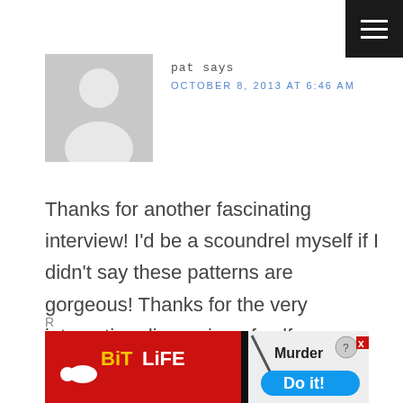[Figure (other): Hamburger menu icon, white lines on dark background, top-right corner]
[Figure (photo): Generic grey avatar silhouette placeholder image]
pat says
OCTOBER 8, 2013 AT 6:46 AM
Thanks for another fascinating interview! I'd be a scoundrel myself if I didn't say these patterns are gorgeous! Thanks for the very interesting discussion of self-publishing!
[Figure (screenshot): BitLife mobile game advertisement banner with red background, showing 'Murder Do it!' text and game logo]